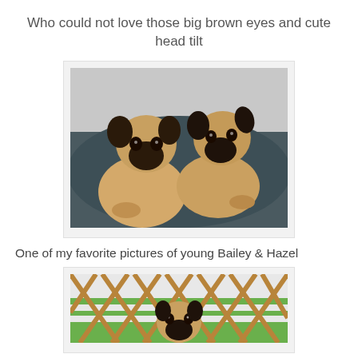Who could not love those big brown eyes and cute head tilt
[Figure (photo): Two fawn pugs sitting on a dark blue/grey sofa cushion, both with heads tilted, one slightly behind the other, against a light grey wall background]
One of my favorite pictures of young Bailey & Hazel
[Figure (photo): A pug puppy peering through a wooden lattice/gate fence with green grass visible in the background]